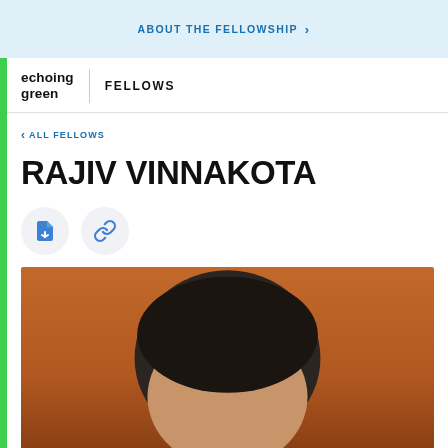ABOUT THE FELLOWSHIP >
[Figure (logo): Echoing Green logo with two-line stacked text in bold black lowercase]
FELLOWS
< ALL FELLOWS
RAJIV VINNAKOTA
[Figure (illustration): Download document icon button (blue file icon on light grey circle)]
[Figure (illustration): Link/chain icon button (blue chain link on light grey circle)]
[Figure (photo): Portrait photo of Rajiv Vinnakota, a man with dark hair, against an orange/warm brown background. Only the top of the head is visible at bottom of page.]